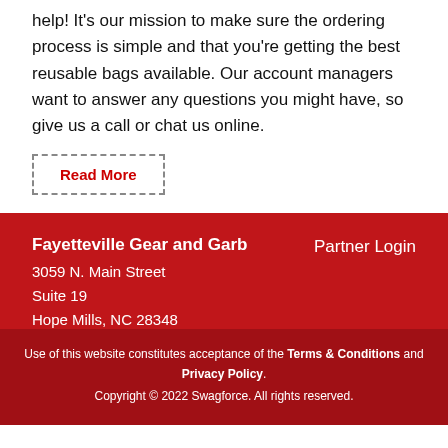help! It's our mission to make sure the ordering process is simple and that you're getting the best reusable bags available. Our account managers want to answer any questions you might have, so give us a call or chat us online.
Read More
Fayetteville Gear and Garb
3059 N. Main Street
Suite 19
Hope Mills, NC 28348
919-904-3553
Partner Login
Use of this website constitutes acceptance of the Terms & Conditions and Privacy Policy.
Copyright © 2022 Swagforce. All rights reserved.